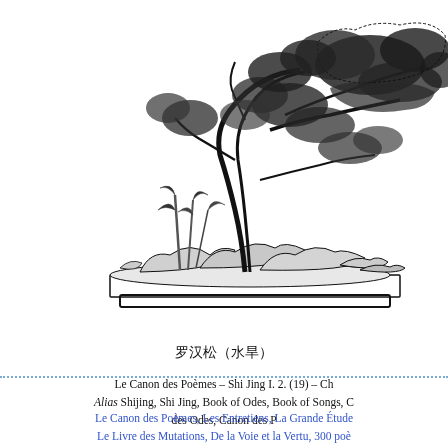[Figure (illustration): Black and white ink drawing of a bonsai pine tree (Podocarpus/Luohan pine) in a shallow rectangular pot with rocks, in traditional Chinese penjing style. The tree has dense foliage and a curved trunk with rock formations at the base.]
罗汉松（水旱）
Le Canon des Poèmes – Shi Jing I. 2. (19) – Ch
Alias Shijing, Shi Jing, Book of Odes, Book of Songs, C
des Odes, Canon des P
Le Canon des Poèmes, Les Entretiens, La Grande Étude, Le Livre des Mutations, De la Voie et la Vertu, 300 poè stratagèmes
Bienvenue, aide, notes, introc
Index – Contact – Haut